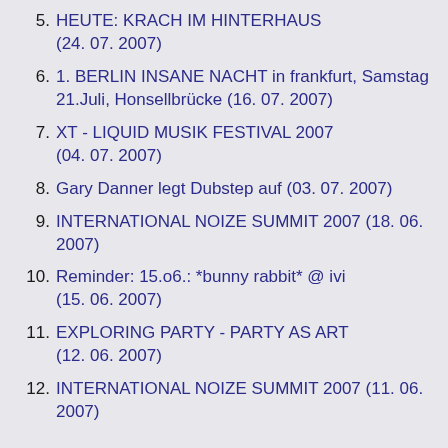5. HEUTE: KRACH IM HINTERHAUS (24. 07. 2007)
6. 1. BERLIN INSANE NACHT in frankfurt, Samstag 21.Juli, Honsellbrücke (16. 07. 2007)
7. XT - LIQUID MUSIK FESTIVAL 2007 (04. 07. 2007)
8. Gary Danner legt Dubstep auf (03. 07. 2007)
9. INTERNATIONAL NOIZE SUMMIT 2007 (18. 06. 2007)
10. Reminder: 15.o6.: *bunny rabbit* @ ivi (15. 06. 2007)
11. EXPLORING PARTY - PARTY AS ART (12. 06. 2007)
12. INTERNATIONAL NOIZE SUMMIT 2007 (11. 06. 2007)